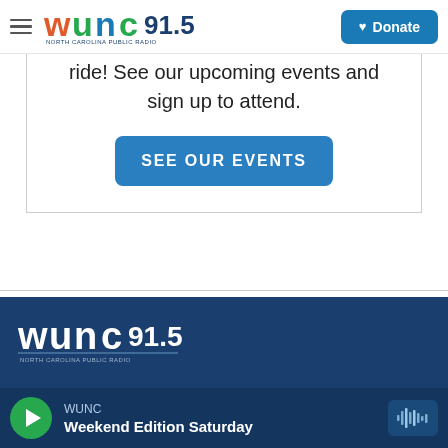[Figure (logo): WUNC 91.5 North Carolina Public Radio logo in header with hamburger menu and Donate button]
ride! See our upcoming events and sign up to attend.
SEE OUR EVENTS
[Figure (logo): WUNC 91.5 North Carolina Public Radio logo in footer on dark blue background]
WUNC
Weekend Edition Saturday